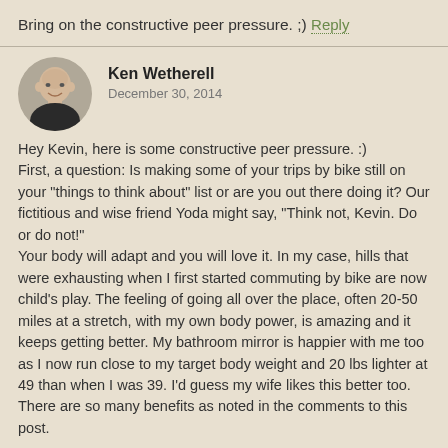Bring on the constructive peer pressure. ;)
Reply
Ken Wetherell
December 30, 2014
Hey Kevin, here is some constructive peer pressure. :)
First, a question: Is making some of your trips by bike still on your "things to think about" list or are you out there doing it? Our fictitious and wise friend Yoda might say, "Think not, Kevin. Do or do not!"
Your body will adapt and you will love it. In my case, hills that were exhausting when I first started commuting by bike are now child's play. The feeling of going all over the place, often 20-50 miles at a stretch, with my own body power, is amazing and it keeps getting better. My bathroom mirror is happier with me too as I now run close to my target body weight and 20 lbs lighter at 49 than when I was 39. I'd guess my wife likes this better too. There are so many benefits as noted in the comments to this post.